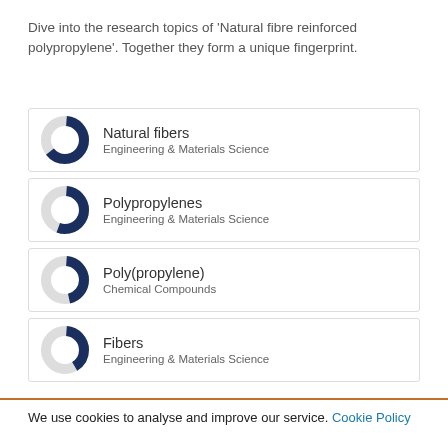Dive into the research topics of 'Natural fibre reinforced polypropylene'. Together they form a unique fingerprint.
[Figure (donut-chart): Donut chart showing approximately 65% fill for Natural fibers category]
Natural fibers
Engineering & Materials Science
[Figure (donut-chart): Donut chart showing approximately 55% fill for Polypropylenes category]
Polypropylenes
Engineering & Materials Science
[Figure (donut-chart): Donut chart showing approximately 45% fill for Poly(propylene) category]
Poly(propylene)
Chemical Compounds
[Figure (donut-chart): Donut chart showing approximately 40% fill for Fibers category]
Fibers
Engineering & Materials Science
We use cookies to analyse and improve our service. Cookie Policy